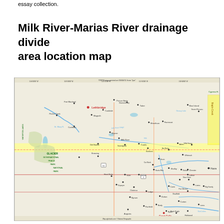essay collection.
Milk River-Marias River drainage divide area location map
[Figure (map): TOPOI map of the Milk River-Marias River drainage divide area, covering parts of southern Alberta (Canada) and northern Montana (USA). Shows geographic features including rivers, lakes, towns, roads, and the US-Canada border. A yellow highlighted band runs horizontally across the map indicating the drainage divide area. Key locations visible include Lethbridge, Waterton Lakes, Glacier National Park, Great Falls, Shelby, Cut Bank, and many other towns and geographic features.]